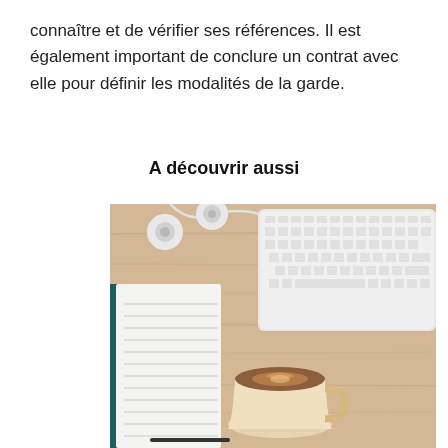connaître et de vérifier ses références. Il est également important de conclure un contrat avec elle pour définir les modalités de la garde.
A découvrir aussi
[Figure (photo): Top-down view of a wooden desk with white earphones/earbuds, an open notebook with lined pages, a white Apple keyboard, and a cup of coffee with latte art.]